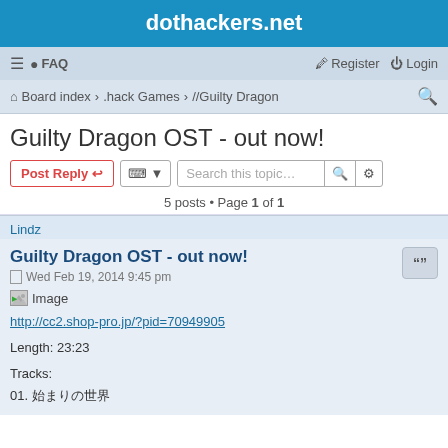dothackers.net
≡ ● FAQ   Register Login
Board index · .hack Games · //Guilty Dragon
Guilty Dragon OST - out now!
Post Reply  [tools]  Search this topic…  5 posts • Page 1 of 1
Lindz
Guilty Dragon OST - out now!
Wed Feb 19, 2014 9:45 pm
[Figure (other): Broken image placeholder]
http://cc2.shop-pro.jp/?pid=70949905
Length: 23:23
Tracks:
01. 始まりの世界